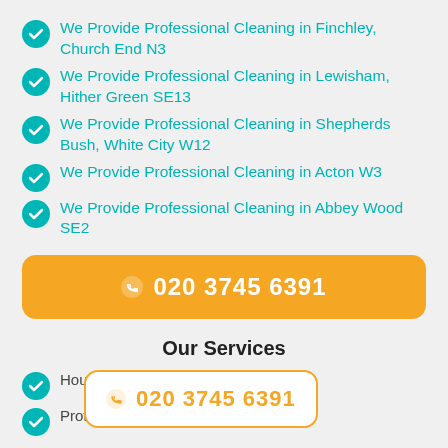We Provide Professional Cleaning in Finchley, Church End N3
We Provide Professional Cleaning in Lewisham, Hither Green SE13
We Provide Professional Cleaning in Shepherds Bush, White City W12
We Provide Professional Cleaning in Acton W3
We Provide Professional Cleaning in Abbey Wood SE2
020 3745 6391
Our Services
House Cleaning
Professional Cleaning
020 3745 6391